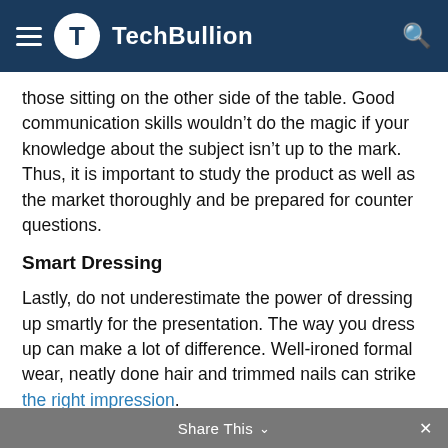TechBullion
those sitting on the other side of the table. Good communication skills wouldn’t do the magic if your knowledge about the subject isn’t up to the mark. Thus, it is important to study the product as well as the market thoroughly and be prepared for counter questions.
Smart Dressing
Lastly, do not underestimate the power of dressing up smartly for the presentation. The way you dress up can make a lot of difference. Well-ironed formal wear, neatly done hair and trimmed nails can strike the right impression.
With so much competition around one cannot climb up the success ladder without putting inadequate efforts. And what you do must also come to the limelight else all the effort can go down the drain. Presentations are a good
Share This